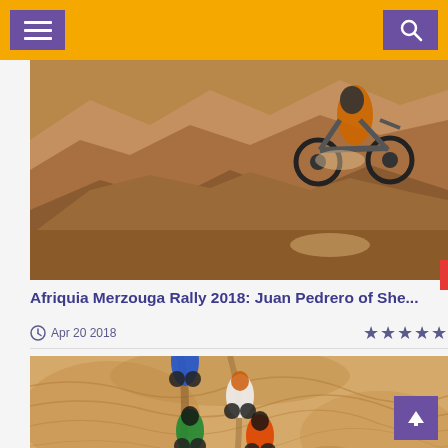Navigation bar with menu and search buttons
[Figure (photo): Dirt bike rider navigating rocky terrain during Afriquia Merzouga Rally 2018, rocky desert landscape]
Afriquia Merzouga Rally 2018: Juan Pedrero of She...
Apr 20 2018  ★★★★★
[Figure (photo): Aerial view of multiple dirt bike riders racing through sandy desert dunes during rally]